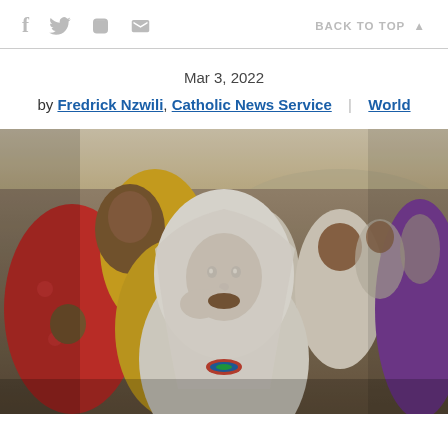f [twitter] [print] [mail]   BACK TO TOP ▲
Mar 3, 2022
by Fredrick Nzwili, Catholic News Service | World
[Figure (photo): A crowd of people wrapped in colorful shawls and garments, including a prominent woman in a white headscarf with her hand raised to her mouth, looking directly at the camera. Other people, including a woman with a baby in a red floral wrap and a person in a yellow shawl, are visible in the background. The setting appears to be outdoors in Ethiopia.]